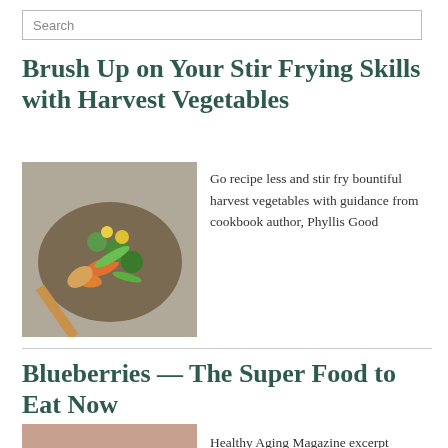Search
Brush Up on Your Stir Frying Skills with Harvest Vegetables
[Figure (photo): A pan with stir-fried harvest vegetables including Brussels sprouts, carrots, and other colorful vegetables with a wooden spoon]
Go recipe less and stir fry bountiful harvest vegetables with guidance from cookbook author, Phyllis Good
Blueberries — The Super Food to Eat Now
[Figure (photo): A partial image of blueberries with a 'To Top' button overlay]
Healthy Aging Magazine excerpt